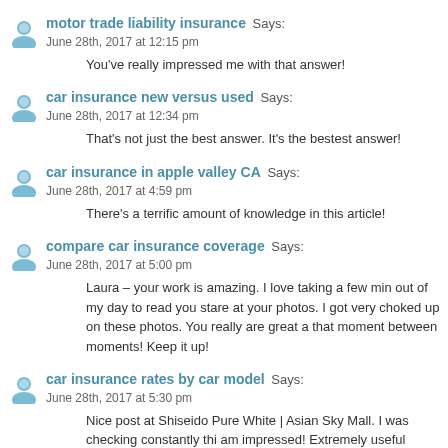motor trade liability insurance Says:
June 28th, 2017 at 12:15 pm
You've really impressed me with that answer!
car insurance new versus used Says:
June 28th, 2017 at 12:34 pm
That's not just the best answer. It's the bestest answer!
car insurance in apple valley CA Says:
June 28th, 2017 at 4:59 pm
There's a terrific amount of knowledge in this article!
compare car insurance coverage Says:
June 28th, 2017 at 5:00 pm
Laura – your work is amazing. I love taking a few min out of my day to read you stare at your photos. I got very choked up on these photos. You really are great a that moment between moments! Keep it up!
car insurance rates by car model Says:
June 28th, 2017 at 5:30 pm
Nice post at Shiseido Pure White | Asian Sky Mall. I was checking constantly thi am impressed! Extremely useful information particularly the last part I care fo